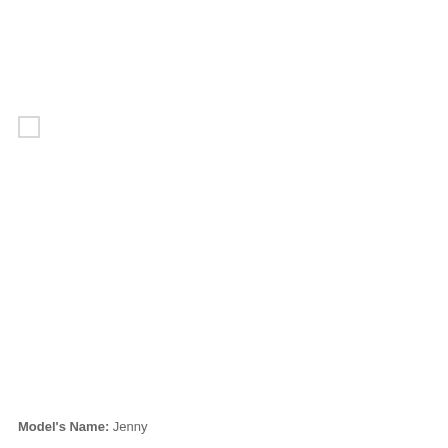[Figure (other): Small empty checkbox/square outline near upper-left area of page]
Model's Name: Jenny